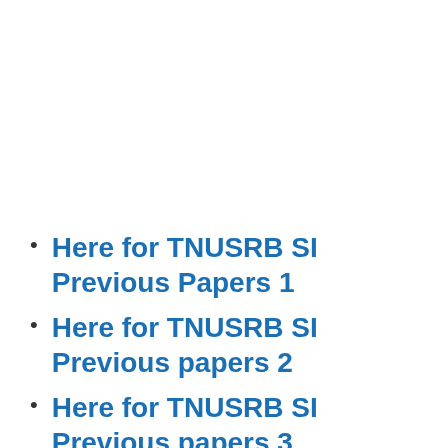Here for TNUSRB SI Previous Papers 1
Here for TNUSRB SI Previous papers 2
Here for TNUSRB SI Previous papers 3
Here for TNUSRB SI Previous